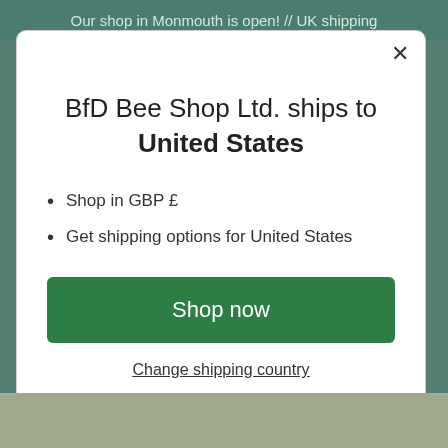Our shop in Monmouth is open! // UK shipping
BfD Bee Shop Ltd. ships to United States
Shop in GBP £
Get shipping options for United States
Shop now
Change shipping country